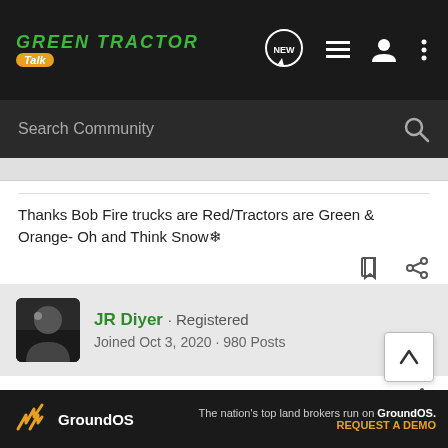Green Tractor Talk
Search Community
Thanks Bob Fire trucks are Red/Tractors are Green & Orange- Oh and Think Snow❄
JR Diyer · Registered
Joined Oct 3, 2020 · 980 Posts
#3 · Feb 8, 2022
Welcome to the Green forum from western PA
Post so...
[Figure (screenshot): GroundOS advertisement banner: The nation's top land brokers run on GroundOS. REQUEST A DEMO]